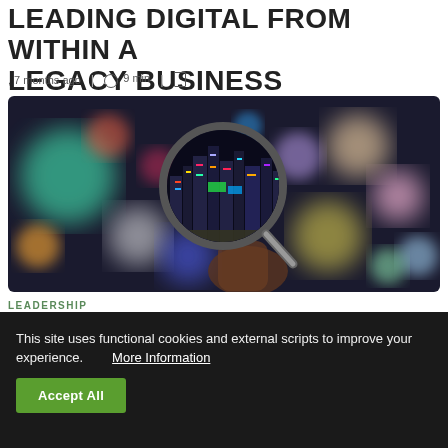LEADING DIGITAL FROM WITHIN A LEGACY BUSINESS
, 7 months ago | 9 min |
[Figure (photo): A hand holding a magnifying glass against a blurred bokeh city lights background, with colorful out-of-focus circles.]
LEADERSHIP
This site uses functional cookies and external scripts to improve your experience. More Information
Accept All